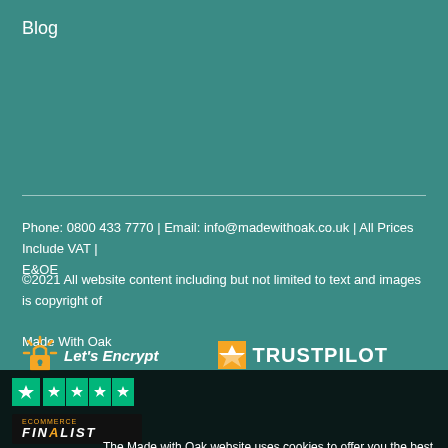Blog
Phone: 0800 433 7770 | Email: info@madewithoak.co.uk | All Prices Include VAT | E&OE
©2021 All website content including but not limited to text and images is copyright of Made With Oak
[Figure (logo): Let's Encrypt SSL logo with padlock icon]
[Figure (logo): Trustpilot logo]
[Figure (screenshot): Cookie consent overlay with OK and PRIVACY POLICY buttons, plus trust badges including Trustpilot stars, eCommerce Finalist badge, and payment card logos]